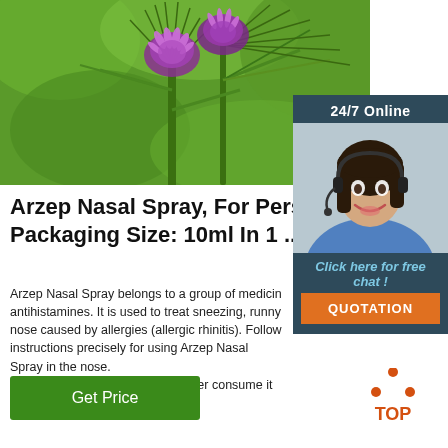[Figure (photo): Close-up photo of purple thistle flowers with green spiky leaves against a green blurred background]
[Figure (photo): 24/7 Online chat widget showing a smiling woman with headset, with 'Click here for free chat!' link and orange QUOTATION button]
Arzep Nasal Spray, For Pers Packaging Size: 10ml In 1 ...
Arzep Nasal Spray belongs to a group of medicines called antihistamines. It is used to treat sneezing, runny nose caused by allergies (allergic rhinitis). Follow instructions precisely for using Arzep Nasal Spray in the nose. It is used as a nasal spray, so never consume it ...
Get Price
[Figure (logo): Orange TOP logo with triangular dots above the word TOP]